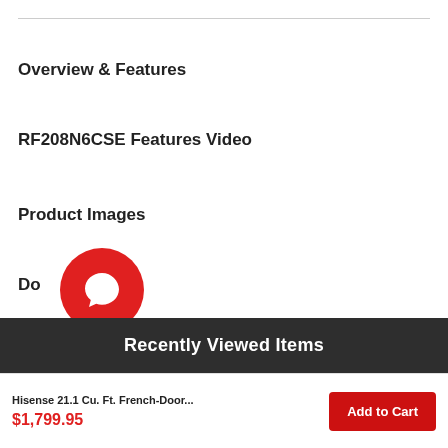Overview & Features
RF208N6CSE Features Video
Product Images
Documents
[Figure (illustration): Red circular chat bubble icon with a speech bubble symbol in white]
Recently Viewed Items
Hisense 21.1 Cu. Ft. French-Door... $1,799.95 Add to Cart